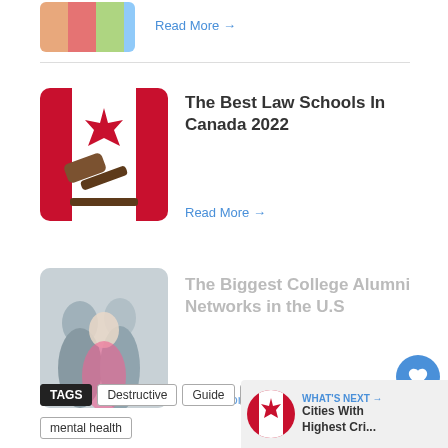[Figure (illustration): Colored bar chart thumbnail at top left]
Read More →
[Figure (photo): Canadian flag with a wooden judge's gavel on top]
The Best Law Schools In Canada 2022
Read More →
[Figure (photo): Two people in business attire, blurred/faded]
The Biggest College Alumni Networks in the U.S
Read More →
1
TAGS  Destructive  Guide  habits  Health
mental health
WHAT'S NEXT → Cities With Highest Cri...